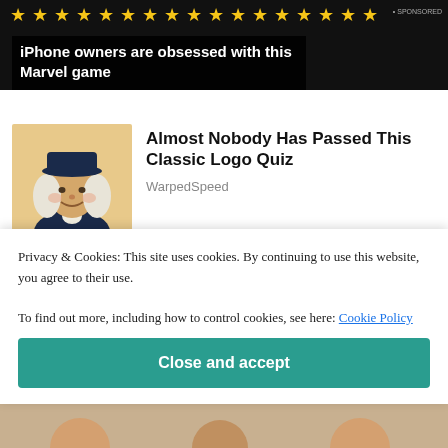[Figure (photo): Ad banner with gold stars and dark background. Text overlay reads: iPhone owners are obsessed with this Marvel game]
iPhone owners are obsessed with this Marvel game
[Figure (photo): Thumbnail of Quaker Oats man mascot illustration — colonial-era man with white wig and hat, smiling]
Almost Nobody Has Passed This Classic Logo Quiz
WarpedSpeed
[Figure (photo): Thumbnail of a girl and garbage truck scene]
[Pics] Girl Gives Garbage Man Cupcake Every Week Until
Privacy & Cookies: This site uses cookies. By continuing to use this website, you agree to their use.
To find out more, including how to control cookies, see here: Cookie Policy
Close and accept